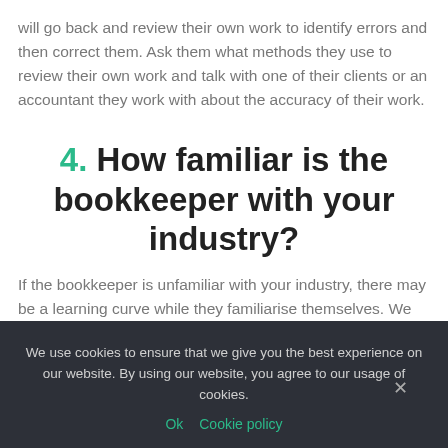will go back and review their own work to identify errors and then correct them. Ask them what methods they use to review their own work and talk with one of their clients or an accountant they work with about the accuracy of their work.
4. How familiar is the bookkeeper with your industry?
If the bookkeeper is unfamiliar with your industry, there may be a learning curve while they familiarise themselves. We recommend asking
We use cookies to ensure that we give you the best experience on our website. By using our website, you agree to our usage of cookies.
Ok   Cookie policy